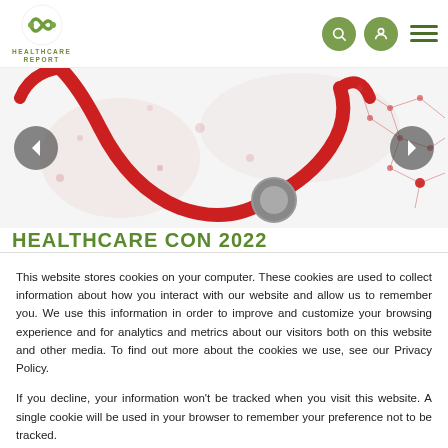[Figure (logo): Healthcare Report logo: green cross/infinity symbol with text HEALTHCARE REPORT below]
[Figure (photo): Hero banner image showing a red stethoscope on white background with molecular/hexagonal network pattern on the right side]
HEALTHCARE CON 2022
This website stores cookies on your computer. These cookies are used to collect information about how you interact with our website and allow us to remember you. We use this information in order to improve and customize your browsing experience and for analytics and metrics about our visitors both on this website and other media. To find out more about the cookies we use, see our Privacy Policy.
If you decline, your information won't be tracked when you visit this website. A single cookie will be used in your browser to remember your preference not to be tracked.